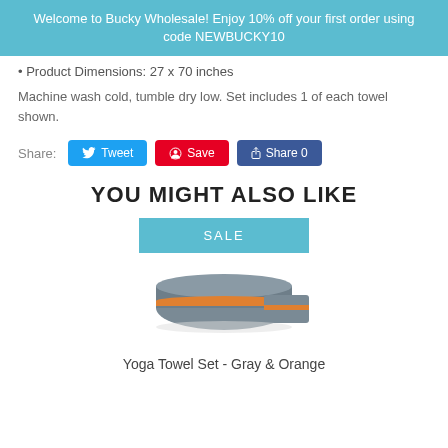Welcome to Bucky Wholesale! Enjoy 10% off your first order using code NEWBUCKY10
Product Dimensions: 27 x 70 inches
Machine wash cold, tumble dry low. Set includes 1 of each towel shown.
Share: Tweet  Save  Share 0
YOU MIGHT ALSO LIKE
[Figure (photo): SALE badge (teal rectangle with SALE text) above a product image of gray and orange yoga towels folded/rolled]
Yoga Towel Set - Gray & Orange